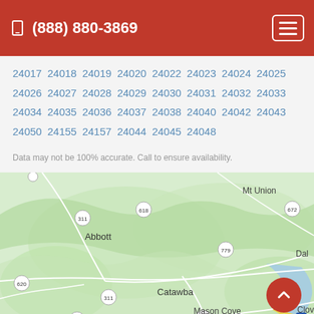(888) 880-3869
24017 24018 24019 24020 24022 24023 24024 24025 24026 24027 24028 24029 24030 24031 24032 24033 24034 24035 24036 24037 24038 24040 24042 24043 24050 24155 24157 24044 24045 24048
Data may not be 100% accurate. Call to ensure availability.
[Figure (map): Map showing area around Roanoke, Virginia including Abbott, Catawba, Mason Cove, Mt Union, Dal, Clov areas with route numbers 311, 618, 620, 624, 672, 779, 864, 11, 81]